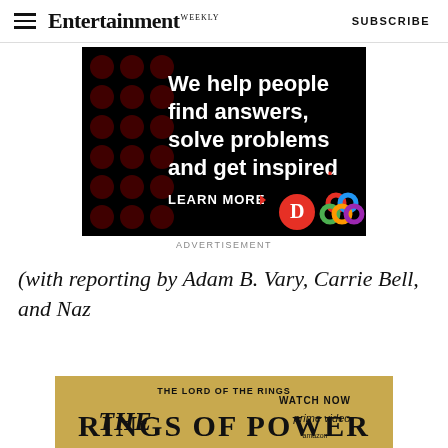Entertainment Weekly — SUBSCRIBE
[Figure (infographic): Advertisement banner with dark background and red dot pattern. White bold text reads: 'We help people find answers, solve problems and get inspired.' with a red period. Below: 'LEARN MORE ▶' in white, with a red circle D logo and a colorful interlocking rings logo.]
ADVERTISEMENT
(with reporting by Adam B. Vary, Carrie Bell, and Naz...
[Figure (infographic): Advertisement for The Lord of the Rings: The Rings of Power on Prime Video. Gold/warm background with show title and 'WATCH NOW' text and Prime Video logo.]